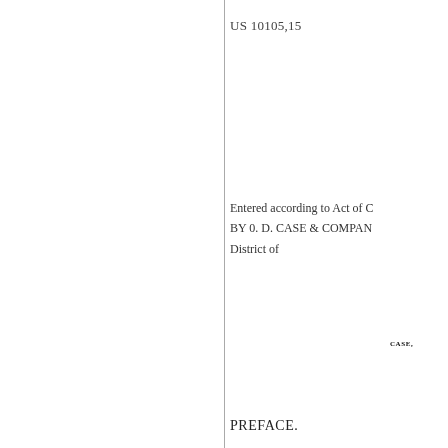US 10105,15
Entered according to Act of C
BY 0. D. CASE & COMPAN
District of
CASE,
PREFACE.